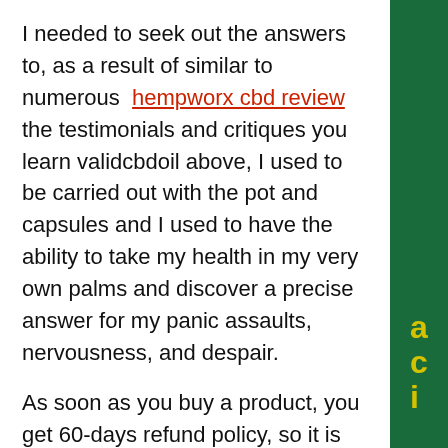I needed to seek out the answers to, as a result of similar to numerous hempworx cbd review the testimonials and critiques you learn validcbdoil above, I used to be carried out with the pot and capsules and I used to have the ability to take my health in my very own palms and discover a precise answer for my panic assaults, nervousness, and despair.
As soon as you buy a product, you get 60-days refund policy, so it is completely safe. Also, each of the HempWox merchandise price $sixty nine + shipping which is decrease than the regular pricing. As mentioned on this Reddit publish , the father or mother company that runs the